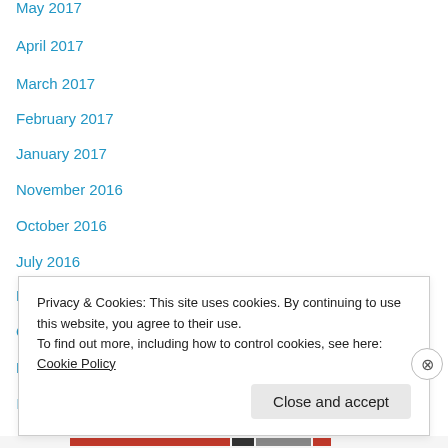May 2017
April 2017
March 2017
February 2017
January 2017
November 2016
October 2016
July 2016
February 2016
October 2015
March 2015
December 2014
November 2014
October 2014
Privacy & Cookies: This site uses cookies. By continuing to use this website, you agree to their use. To find out more, including how to control cookies, see here: Cookie Policy
Close and accept